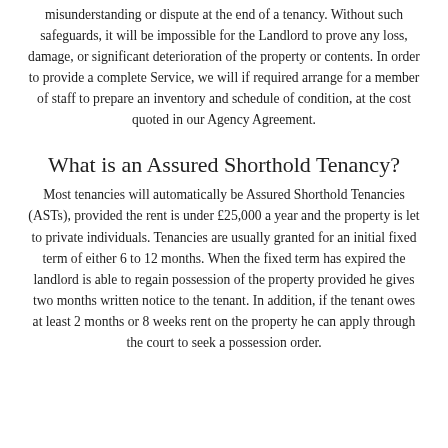misunderstanding or dispute at the end of a tenancy. Without such safeguards, it will be impossible for the Landlord to prove any loss, damage, or significant deterioration of the property or contents. In order to provide a complete Service, we will if required arrange for a member of staff to prepare an inventory and schedule of condition, at the cost quoted in our Agency Agreement.
What is an Assured Shorthold Tenancy?
Most tenancies will automatically be Assured Shorthold Tenancies (ASTs), provided the rent is under £25,000 a year and the property is let to private individuals. Tenancies are usually granted for an initial fixed term of either 6 to 12 months. When the fixed term has expired the landlord is able to regain possession of the property provided he gives two months written notice to the tenant. In addition, if the tenant owes at least 2 months or 8 weeks rent on the property he can apply through the court to seek a possession order.